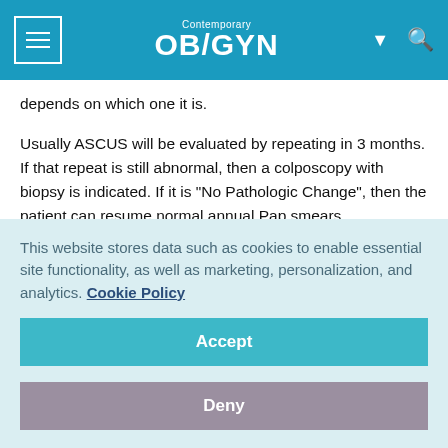Contemporary OB/GYN
depends on which one it is.
Usually ASCUS will be evaluated by repeating in 3 months. If that repeat is still abnormal, then a colposcopy with biopsy is indicated. If it is "No Pathologic Change", then the patient can resume normal annual Pap smears.
Usually AGCUS requires, colposcopy, endometrial biopsy, and endocervical curettage. Further treatment depends on the
This website stores data such as cookies to enable essential site functionality, as well as marketing, personalization, and analytics. Cookie Policy
Accept
Deny